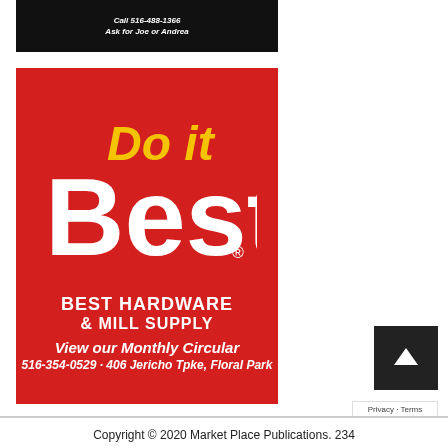[Figure (advertisement): Dark background ad with text: Call 516-488-1366, Ask for Joe or Andrea]
[Figure (advertisement): Do it Best Hardware & Mill Supply red advertisement with logo, View our Monthly Circular, 516-354-0529 - 406 Jericho Tpke, Floral Park]
Copyright © 2020 Market Place Publications. 234